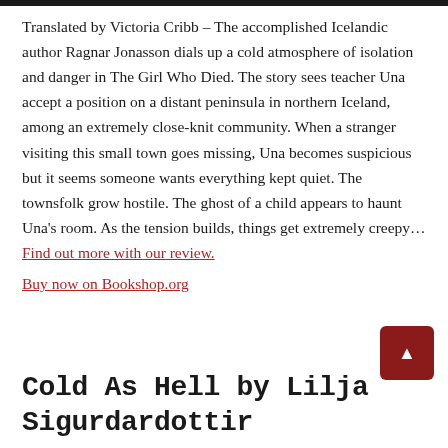Translated by Victoria Cribb – The accomplished Icelandic author Ragnar Jonasson dials up a cold atmosphere of isolation and danger in The Girl Who Died. The story sees teacher Una accept a position on a distant peninsula in northern Iceland, among an extremely close-knit community. When a stranger visiting this small town goes missing, Una becomes suspicious but it seems someone wants everything kept quiet. The townsfolk grow hostile. The ghost of a child appears to haunt Una's room. As the tension builds, things get extremely creepy… Find out more with our review. Buy now on Bookshop.org
Cold As Hell by Lilja Sigurdardottir